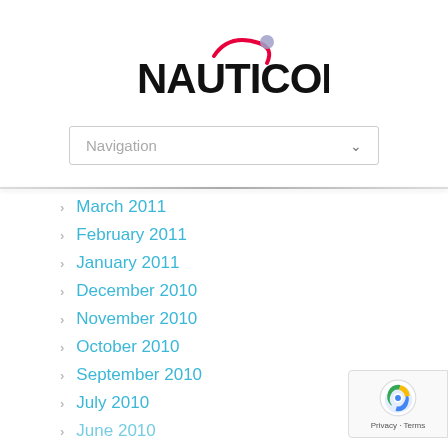[Figure (logo): Nauticomp logo with bold black text and a red/pink swoosh arc with a small blue/purple circle]
[Figure (screenshot): Navigation dropdown selector with 'Navigation' placeholder text and a chevron arrow]
March 2011
February 2011
January 2011
December 2010
November 2010
October 2010
September 2010
July 2010
June 2010